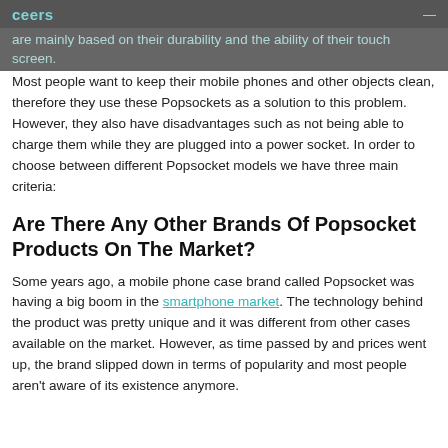ceers
are mainly based on their durability and the ability of their touch screen.
Most people want to keep their mobile phones and other objects clean, therefore they use these Popsockets as a solution to this problem. However, they also have disadvantages such as not being able to charge them while they are plugged into a power socket. In order to choose between different Popsocket models we have three main criteria:
Are There Any Other Brands Of Popsocket Products On The Market?
Some years ago, a mobile phone case brand called Popsocket was having a big boom in the smartphone market. The technology behind the product was pretty unique and it was different from other cases available on the market. However, as time passed by and prices went up, the brand slipped down in terms of popularity and most people aren't aware of its existence anymore.